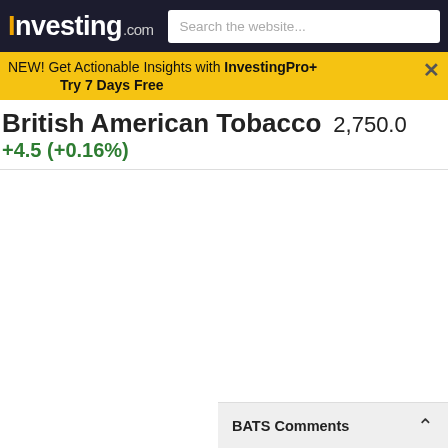Investing.com — Search the website...
NEW! Get Actionable Insights with InvestingPro+ Try 7 Days Free
British American Tobacco  2,750.0  +4.5 (+0.16%)
BATS Comments